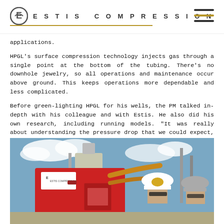ESTIS COMPRESSION
applications.
HPGL's surface compression technology injects gas through a single point at the bottom of the tubing. There's no downhole jewelry, so all operations and maintenance occur above ground. This keeps operations more dependable and less complicated.
Before green-lighting HPGL for his wells, the PM talked in-depth with his colleague and with Estis. He also did his own research, including running models. "It was really about understanding the pressure drop that we could expect, which directly correlates to the volumes we could expect," he says. "There was my proof, so we moved forward with the application."
[Figure (photo): Industrial gas compression equipment (red unit with Estis Compression branding) with two workers wearing hard hats in foreground, set against a partly cloudy sky with oilfield infrastructure in background.]